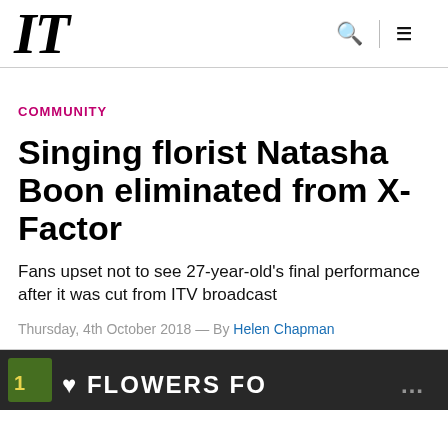IT
COMMUNITY
Singing florist Natasha Boon eliminated from X-Factor
Fans upset not to see 27-year-old's final performance after it was cut from ITV broadcast
Thursday, 4th October 2018 — By Helen Chapman
[Figure (photo): Partial photo strip at bottom of page showing text 'FLOWERS FO...' on dark background]